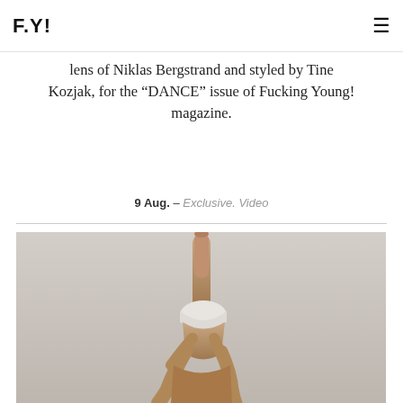F.Y!
lens of Niklas Bergstrand and styled by Tine Kozjak, for the “DANCE” issue of Fucking Young! magazine.
9 Aug. – Exclusive. Video
[Figure (photo): Two dancers in an acrobatic pose against a grey background. One dancer is lifted and extends a leg straight up, wearing white briefs. Both figures are muscular and the image is in color with muted tones.]